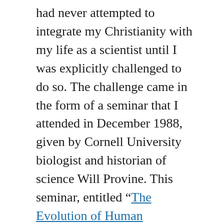had never attempted to integrate my Christianity with my life as a scientist until I was explicitly challenged to do so. The challenge came in the form of a seminar that I attended in December 1988, given by Cornell University biologist and historian of science Will Provine. This seminar, entitled “The Evolution of Human Morality,” literally changed my life. Citing the authority of modern evolutionary biology, Provine invited his audience, scientists at the Academy of Natural Sciences of Philadelphia, to face what he claimed were the consequences of evolution: there is no God; there is no soul; there is no life after death; there is no such thing as free will. We make hundreds of choices every day,